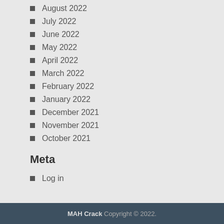August 2022
July 2022
June 2022
May 2022
April 2022
March 2022
February 2022
January 2022
December 2021
November 2021
October 2021
Meta
Log in
MAH Crack Copyright © 2022.